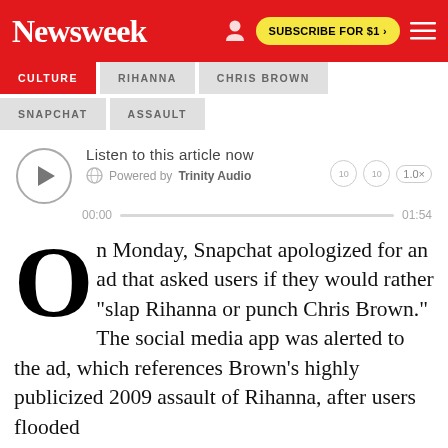Newsweek
CULTURE
RIHANNA
CHRIS BROWN
SNAPCHAT
ASSAULT
[Figure (other): Audio player widget: Listen to this article now, Powered by Trinity Audio, 00:00 / 01:54]
On Monday, Snapchat apologized for an ad that asked users if they would rather "slap Rihanna or punch Chris Brown." The social media app was alerted to the ad, which references Brown's highly publicized 2009 assault of Rihanna, after users flooded